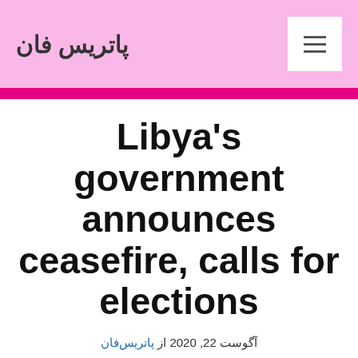پاتریس فان
Libya's government announces ceasefire, calls for elections
آگوست 22, 2020 از پاتریس‌فان